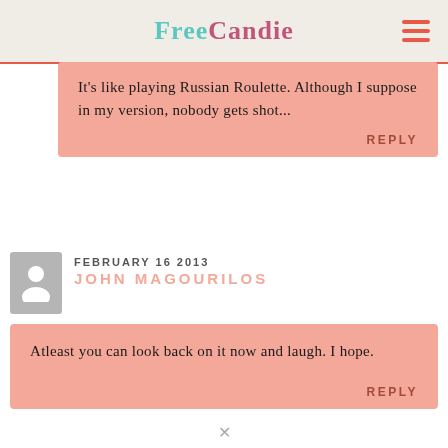FreeCandie
It's like playing Russian Roulette. Although I suppose in my version, nobody gets shot...
REPLY
FEBRUARY 16 2013
JOHN MAGOURILOS
Atleast you can look back on it now and laugh. I hope.
REPLY